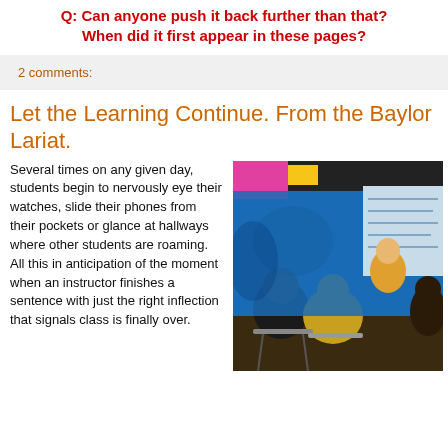Q: Can anyone push it back further than that? When did it first appear in these pages?
2 comments:
Let the Learning Continue. From the Baylor Lariat.
Several times on any given day, students begin to nervously eye their watches, slide their phones from their pockets or glance at hallways where other students are roaming. All this in anticipation of the moment when an instructor finishes a sentence with just the right inflection that signals class is finally over.
[Figure (photo): A stylized/illustrated photo of students in a classroom, viewed from behind, with colorful abstract rendering. Students are seated at desks with a teacher visible at the front near a blue board with pink and yellow elements.]